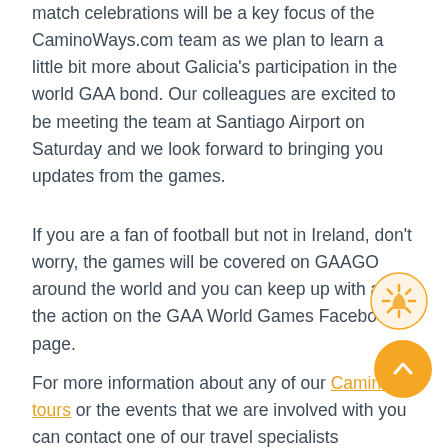match celebrations will be a key focus of the CaminoWays.com team as we plan to learn a little bit more about Galicia's participation in the world GAA bond. Our colleagues are excited to be meeting the team at Santiago Airport on Saturday and we look forward to bringing you updates from the games.
If you are a fan of football but not in Ireland, don't worry, the games will be covered on GAAGO around the world and you can keep up with all of the action on the GAA World Games Facebook page.
For more information about any of our Camino tours or the events that we are involved with you can contact one of our travel specialists